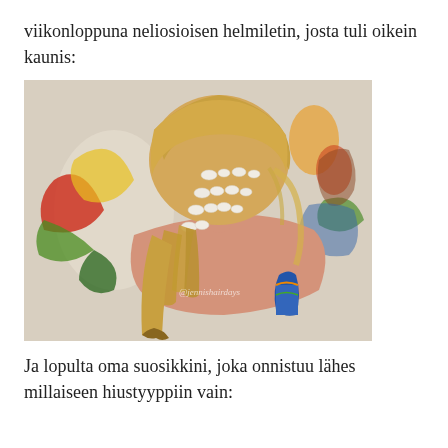viikonloppuna neliosioisen helmiletin, josta tuli oikein kaunis:
[Figure (photo): Back view of a blonde girl with four-strand pearl braid hairstyle, standing in front of a colorful painted wall. Watermark text '@jennishairdays' visible on the photo.]
Ja lopulta oma suosikkini, joka onnistuu lähes millaiseen hiustyyppiin vain: